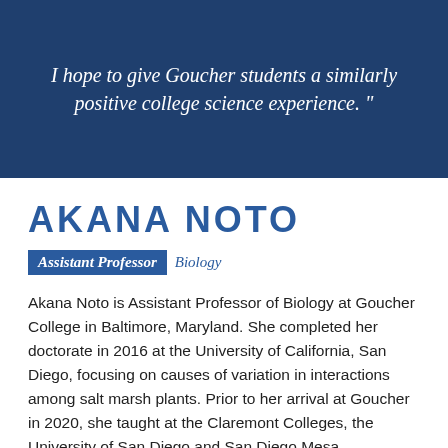I hope to give Goucher students a similarly positive college science experience.”
AKANA NOTO
Assistant Professor  Biology
Akana Noto is Assistant Professor of Biology at Goucher College in Baltimore, Maryland. She completed her doctorate in 2016 at the University of California, San Diego, focusing on causes of variation in interactions among salt marsh plants. Prior to her arrival at Goucher in 2020, she taught at the Claremont Colleges, the University of San Diego and San Diego Mesa Community College and conducted postdoctoral research at Northeastern University on